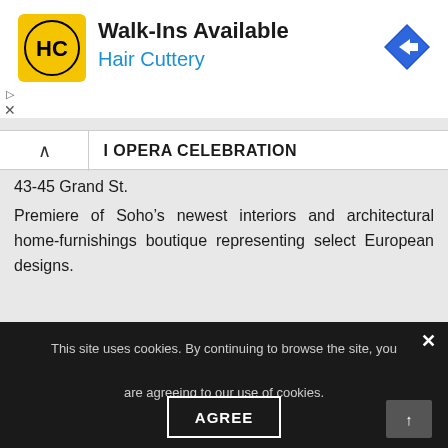[Figure (screenshot): Hair Cuttery advertisement banner with logo (HC in yellow square), 'Walk-Ins Available' headline, 'Hair Cuttery' subtitle in blue, and blue navigation arrow icon on right]
I OPERA CELEBRATION
43-45 Grand St.
Premiere of Soho’s newest interiors and architectural home-furnishings boutique representing select European designs.
This site uses cookies. By continuing to browse the site, you are agreeing to our use of cookies.